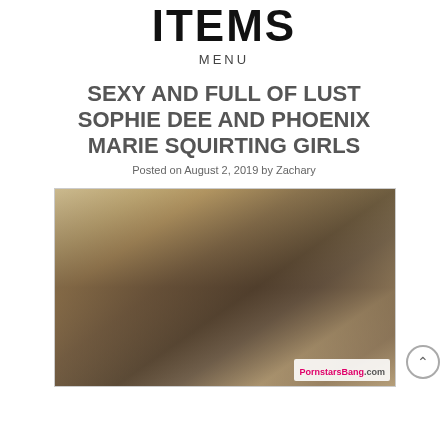MENU
SEXY AND FULL OF LUST SOPHIE DEE AND PHOENIX MARIE SQUIRTING GIRLS
Posted on August 2, 2019 by Zachary
[Figure (photo): Photo of three women, with a PornstarsBang.com watermark in the bottom right corner.]